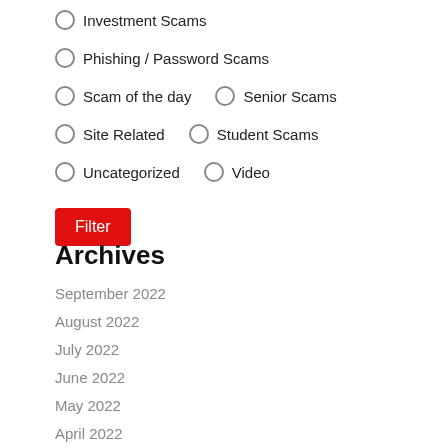Investment Scams
Phishing / Password Scams
Scam of the day   Senior Scams
Site Related   Student Scams
Uncategorized   Video
Filter
Archives
September 2022
August 2022
July 2022
June 2022
May 2022
April 2022